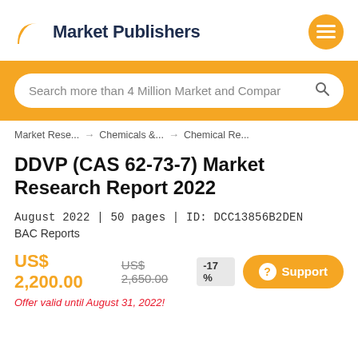[Figure (logo): Market Publishers logo with orange stylized icon and dark blue bold text]
Search more than 4 Million Market and Compar
Market Rese... → Chemicals &... → Chemical Re...
DDVP (CAS 62-73-7) Market Research Report 2022
August 2022 | 50 pages | ID: DCC13856B2DEN
BAC Reports
US$ 2,200.00  US$ 2,650.00  -17 %
Offer valid until August 31, 2022!